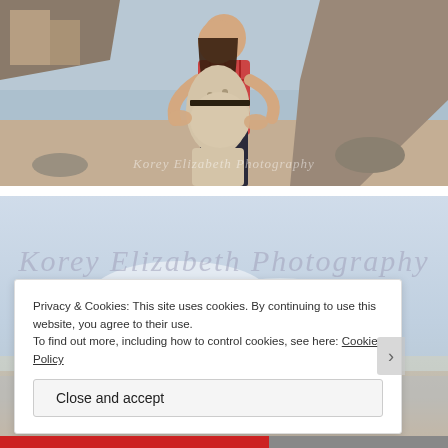[Figure (photo): A couple standing on a beach. The man in a red plaid shirt stands behind a pregnant woman in a patterned dress. Rocky cliffs and ocean waves visible in background. Watermark reads 'Korey Elizabeth Photography'.]
[Figure (photo): A sky/beach scene with the watermark 'Korey Elizabeth Photography' in cursive script overlaid in light gray. A cookie consent banner overlays the bottom portion.]
Privacy & Cookies: This site uses cookies. By continuing to use this website, you agree to their use.
To find out more, including how to control cookies, see here: Cookie Policy
Close and accept